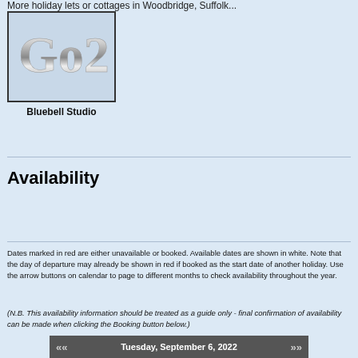More holiday lets or cottages in Woodbridge, Suffolk...
[Figure (logo): Go2 logo in metallic chrome-style text inside a bordered box]
Bluebell Studio
Availability
Dates marked in red are either unavailable or booked. Available dates are shown in white. Note that the day of departure may already be shown in red if booked as the start date of another holiday. Use the arrow buttons on calendar to page to different months to check availability throughout the year.
(N.B. This availability information should be treated as a guide only - final confirmation of availability can be made when clicking the Booking button below.)
Tuesday, September 6, 2022